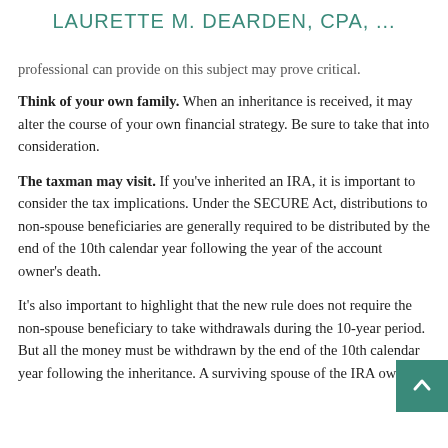LAURETTE M. DEARDEN, CPA, ...
professional can provide on this subject may prove critical.
Think of your own family. When an inheritance is received, it may alter the course of your own financial strategy. Be sure to take that into consideration.
The taxman may visit. If you've inherited an IRA, it is important to consider the tax implications. Under the SECURE Act, distributions to non-spouse beneficiaries are generally required to be distributed by the end of the 10th calendar year following the year of the account owner's death.
It's also important to highlight that the new rule does not require the non-spouse beneficiary to take withdrawals during the 10-year period. But all the money must be withdrawn by the end of the 10th calendar year following the inheritance. A surviving spouse of the IRA owner,